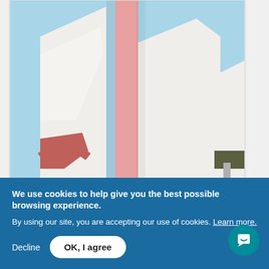[Figure (photo): Architectural photograph showing abstract geometric forms of white and pink building facades against a light blue sky, part of the DECO series by Matthieu Venot.]
Untitled V, DECO series
Matthieu Venot
350 €
BACK TO
We use cookies to help give you the best possible browsing experience.
By using our site, you are accepting our use of cookies. Learn more.
Decline
OK, I agree